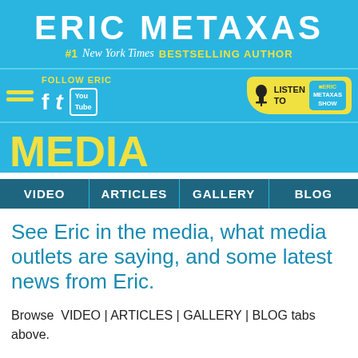ERIC METAXAS
#1 New York Times BESTSELLING AUTHOR
FOLLOW ERIC
[Figure (infographic): Navigation bar with hamburger menu, Follow Eric label with Facebook, Twitter, YouTube social icons, and a Listen To Eric Metaxas Show button]
MEDIA
VIDEO | ARTICLES | GALLERY | BLOG
See Eric in the media, what media outlets are saying, and some latest news from Eric.
Browse  VIDEO | ARTICLES | GALLERY | BLOG tabs above.